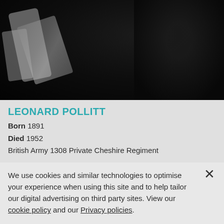[Figure (photo): Black and white photograph of a soldier, close-up portrait, mostly dark tones with a diagonal strap or sash visible]
LEONARD POLLITT
Born 1891
Died 1952
British Army 1308 Private Cheshire Regiment
We use cookies and similar technologies to optimise your experience when using this site and to help tailor our digital advertising on third party sites. View our cookie policy and our Privacy policies.